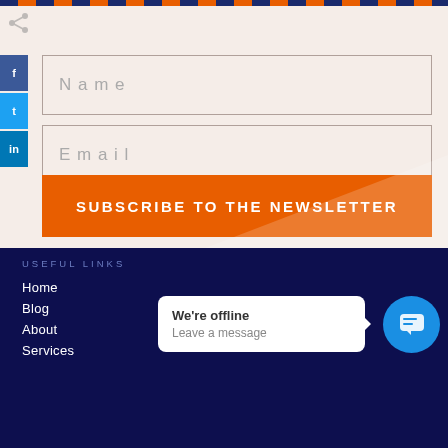[Figure (screenshot): Share icon at top left]
[Figure (screenshot): Social media sidebar with Facebook, Twitter, LinkedIn buttons]
Name
Email
Subscribe to the newsletter
USEFUL LINKS
Home
Blog
About
Services
We're offline
Leave a message